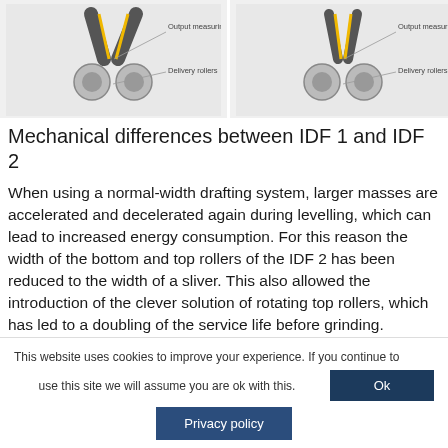[Figure (engineering-diagram): Two side-by-side mechanical diagrams showing IDF 1 and IDF 2 drafting system cross-sections, each with delivery rollers, output measuring sensor labels, and a V-shaped top roller assembly with a yellow element (sliver path).]
Mechanical differences between IDF 1 and IDF 2
When using a normal-width drafting system, larger masses are accelerated and decelerated again during levelling, which can lead to increased energy consumption. For this reason the width of the bottom and top rollers of the IDF 2 has been reduced to the width of a sliver. This also allowed the introduction of the clever solution of rotating top rollers, which has led to a doubling of the service life before grinding.
This website uses cookies to improve your experience. If you continue to use this site we will assume you are ok with this.
Ok
Privacy policy